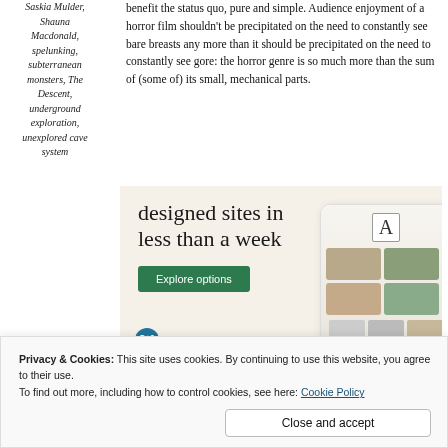Saskia Mulder, Shauna Macdonald, spelunking, subterranean monsters, The Descent, underground exploration, unexplored cave system
benefit the status quo, pure and simple. Audience enjoyment of a horror film shouldn't be precipitated on the need to constantly see bare breasts any more than it should be precipitated on the need to constantly see gore: the horror genre is so much more than the sum of (some of) its small, mechanical parts.
[Figure (screenshot): Advertisement for WordPress: 'designed sites in less than a week' with Explore options button and phone/tablet mockup showing website layouts on beige background.]
Privacy & Cookies: This site uses cookies. By continuing to use this website, you agree to their use.
To find out more, including how to control cookies, see here: Cookie Policy
Close and accept